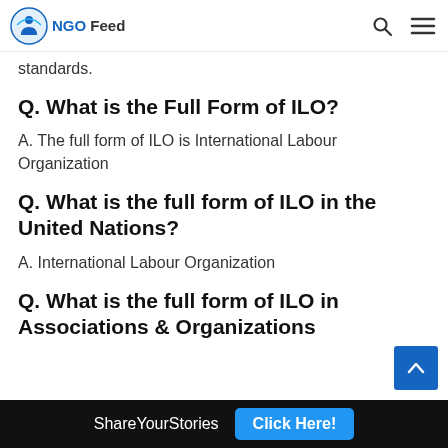NGO Feed
standards.
Q. What is the Full Form of ILO?
A. The full form of ILO is International Labour Organization
Q. What is the full form of ILO in the United Nations?
A. International Labour Organization
Q. What is the full form of ILO in Associations & Organizations
ShareYourStories   Click Here!